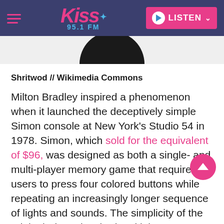Kiss 95.1 FM — navigation bar with hamburger menu, Kiss 95.1 FM logo, and LISTEN button
[Figure (photo): Partial view of the top of a dark circular Simon game console disc, cropped so only the upper arc is visible against a light grey background]
Shritwod // Wikimedia Commons
Milton Bradley inspired a phenomenon when it launched the deceptively simple Simon console at New York's Studio 54 in 1978. Simon, which sold for the equivalent of $96, was designed as both a single- and multi-player memory game that required users to press four colored buttons while repeating an increasingly longer sequence of lights and sounds. The simplicity of the original Simon inspired multiple generations of the game,